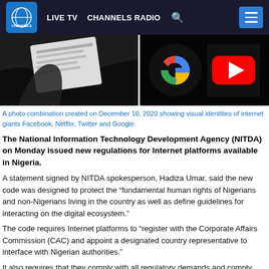LIVE TV  CHANNELS RADIO
[Figure (photo): A photo combination created on December 10, 2020 showing visual identities of internet giants Facebook, Netflix, Twitter and Google. Left side shows a hand holding a card with text, right side shows Google and YouTube logos on dark background.]
A photo combination created on December 10, 2020 showing visual identities of internet giants Facebook, Netflix, Twitter and Google.
The National Information Technology Development Agency (NITDA) on Monday issued new regulations for Internet platforms available in Nigeria.
A statement signed by NITDA spokesperson, Hadiza Umar, said the new code was designed to protect the “fundamental human rights of Nigerians and non-Nigerians living in the country as well as define guidelines for interacting on the digital ecosystem.”
The code requires Internet platforms to “register with the Corporate Affairs Commission (CAC) and appoint a designated country representative to interface with Nigerian authorities.”
It also requires that they comply with all regulatory demands and comply with all applicable tax obligations on its operations under Nigerian law.